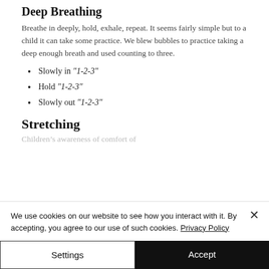Deep Breathing
Breathe in deeply, hold, exhale, repeat. It seems fairly simple but to a child it can take some practice. We blew bubbles to practice taking a deep enough breath and used counting to three.
Slowly in "1-2-3"
Hold "1-2-3"
Slowly out "1-2-3"
Stretching
Children...
We use cookies on our website to see how you interact with it. By accepting, you agree to our use of such cookies. Privacy Policy